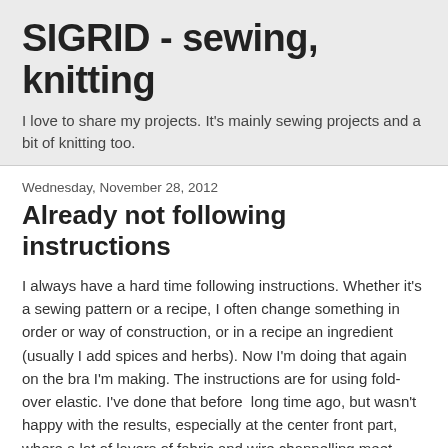SIGRID - sewing, knitting
I love to share my projects. It's mainly sewing projects and a bit of knitting too.
Wednesday, November 28, 2012
Already not following instructions
I always have a hard time following instructions. Whether it's a sewing pattern or a recipe, I often change something in order or way of construction, or in a recipe an ingredient (usually I add spices and herbs). Now I'm doing that again on the bra I'm making. The instructions are for using fold-over elastic. I've done that before  long time ago, but wasn't happy with the results, especially at the center front part, where a lot of layers of fabric and wire channelling meet. Tonight I made the cups for the bra. Construction takes a bit more time than I"m used to, as this is a new pattern with some new techniques. And then I'm changing things as well!